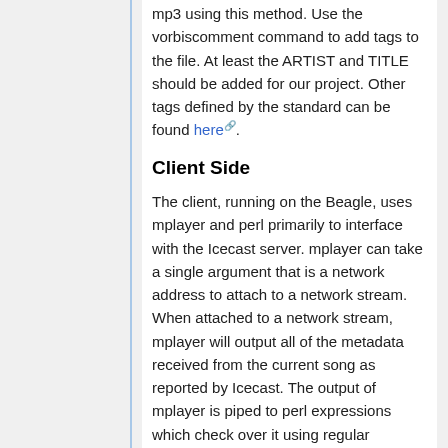mp3 using this method. Use the vorbiscomment command to add tags to the file. At least the ARTIST and TITLE should be added for our project. Other tags defined by the standard can be found here.
Client Side
The client, running on the Beagle, uses mplayer and perl primarily to interface with the Icecast server. mplayer can take a single argument that is a network address to attach to a network stream. When attached to a network stream, mplayer will output all of the metadata received from the current song as reported by Icecast. The output of mplayer is piped to perl expressions which check over it using regular expressions. The an match for Artist or